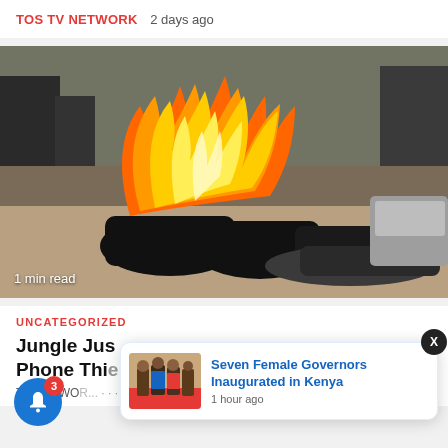TOS TV NETWORK  2 days ago
[Figure (photo): Burning tires on the ground with large flames, people visible in background. Overlay text: '1 min read']
UNCATEGORIZED
Jungle Jus... Phone Thie...
TV NETWORK...
[Figure (photo): Notification popup showing 'Seven Female Governors Inaugurated in Kenya' with a thumbnail photo, posted 1 hour ago]
Seven Female Governors Inaugurated in Kenya
1 hour ago